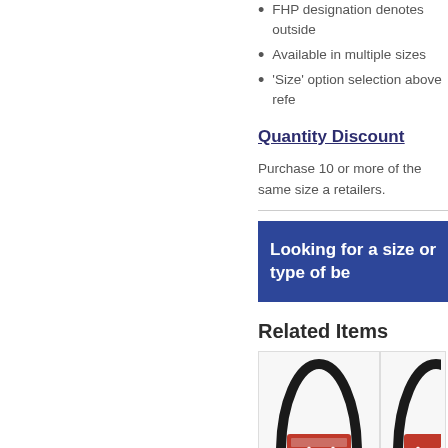FHP designation denotes outside
Available in multiple sizes
'Size' option selection above refe
Quantity Discount
Purchase 10 or more of the same size a retailers.
Looking for a size or type of be
Related Items
[Figure (photo): A black V-belt with a red product label/tag, shown looped in an oval shape.]
[Figure (photo): A partial view of another belt product, cropped at right edge.]